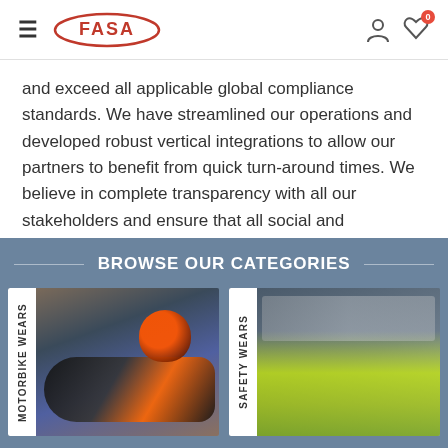FASA
and exceed all applicable global compliance standards. We have streamlined our operations and developed robust vertical integrations to allow our partners to benefit from quick turn-around times. We believe in complete transparency with all our stakeholders and ensure that all social and environmental commitments get fulfilled.
BROWSE OUR CATEGORIES
[Figure (photo): Motorbike rider in black and orange gear leaning on a racing motorcycle on a track]
MOTORBIKE WEARS
[Figure (photo): Group of workers wearing yellow/green high-visibility safety jackets at a construction site]
SAFETY WEARS